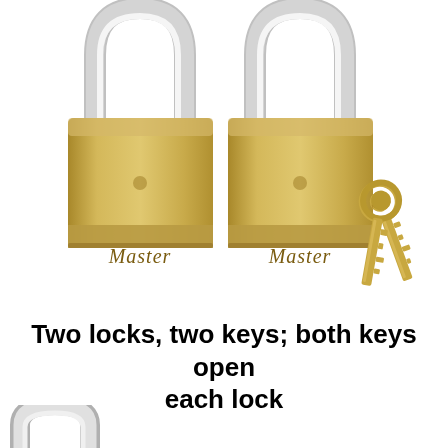[Figure (photo): Two brass Master padlocks side by side with silver shackles, and two brass keys overlapping on the right side. Both padlocks have 'Master' engraved on the body.]
Two locks, two keys; both keys open each lock
[Figure (photo): Partial view of a silver/chrome padlock shackle at the bottom left of the page.]